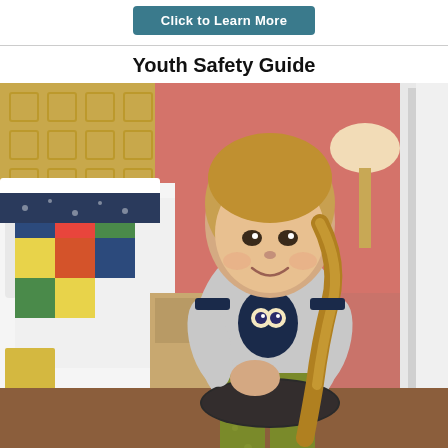Click to Learn More
Youth Safety Guide
[Figure (photo): A young girl with a blonde braid, wearing a grey owl sweater and olive green leggings, sitting in the corner of a colorful bedroom near a white bed frame with patterned bedding and a striped rug on the floor.]